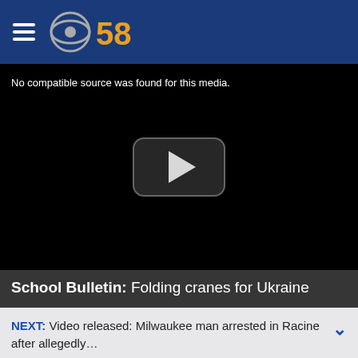CBS 58
[Figure (screenshot): Black video player area with text 'No compatible source was found for this media.' and a play button in the center]
School Bulletin: Folding cranes for Ukraine
NEXT: Video released: Milwaukee man arrested in Racine after allegedly...
MILWAUKEE (CBS 58) -- Brookfield high school